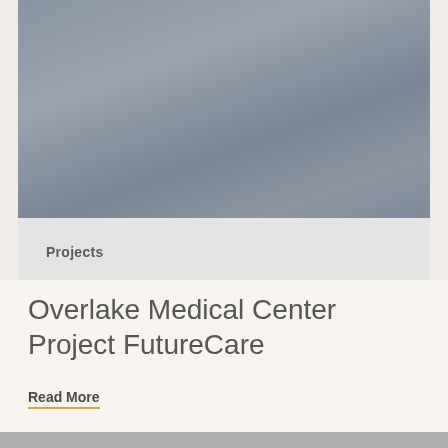[Figure (photo): Outdoor sky photo with bluish-gray overcast tones, showing clouds or haze]
Projects
Overlake Medical Center Project FutureCare
Read More